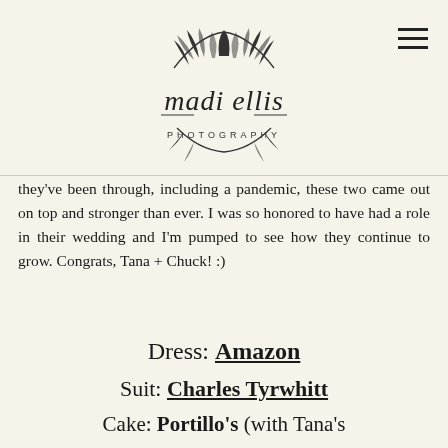madi ellis photography
they've been through, including a pandemic, these two came out on top and stronger than ever. I was so honored to have had a role in their wedding and I'm pumped to see how they continue to grow. Congrats, Tana + Chuck! :)
Dress: Amazon
Suit: Charles Tyrwhitt
Cake: Portillo's (with Tana's decorations)
Florals: IFFO Bridal Bouquets